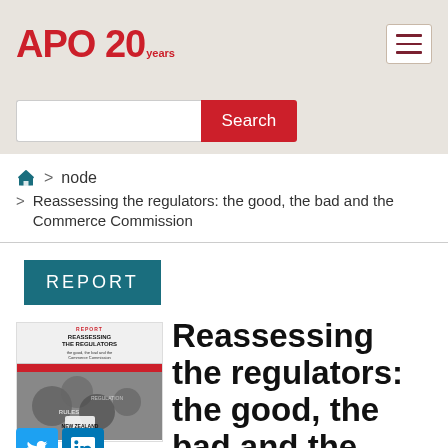APO 20 years
Search
> node > Reassessing the regulators: the good, the bad and the Commerce Commission
REPORT
[Figure (photo): Book cover thumbnail of 'Reassessing the Regulators: the good, the bad and the Commerce Commission' showing gears and regulatory text]
Reassessing the regulators: the good, the bad and the Commerce